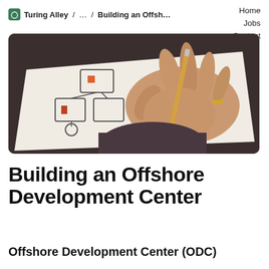Turing Alley / … / Building an Offsh…
Home
Jobs
Contact
[Figure (photo): Close-up photo of a person's hand holding a pencil and drawing a wireframe/flowchart diagram on white paper, viewed at an angle on a dark surface. The diagram shows boxes connected with lines and some orange/red squares.]
Building an Offshore Development Center
Offshore Development Center (ODC)